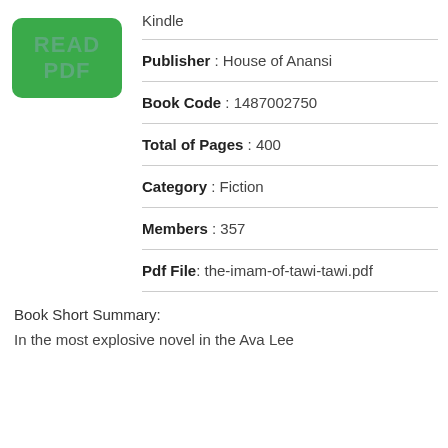[Figure (other): Green button with text READ PDF]
Kindle
Publisher : House of Anansi
Book Code : 1487002750
Total of Pages : 400
Category : Fiction
Members : 357
Pdf File: the-imam-of-tawi-tawi.pdf
Book Short Summary:
In the most explosive novel in the Ava Lee